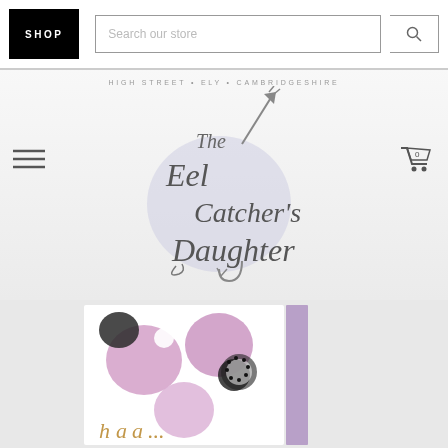SHOP | Search our store
HIGH STREET • ELY • CAMBRIDGESHIRE
[Figure (logo): The Eel Catcher's Daughter store logo — cursive script text with a trident/arrow graphic and light purple circle background]
[Figure (photo): Partial product image showing floral/abstract pink, black and white pattern, partially cropped at bottom of page]